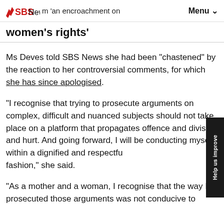SBS News — 'an encroachment on women's rights' Menu
women's rights'
Ms Deves told SBS News she had been "chastened" by the reaction to her controversial comments, for which she has since apologised.
"I recognise that trying to prosecute arguments on complex, difficult and nuanced subjects should not take place on a platform that propagates offence and division and hurt. And going forward, I will be conducting myself within a dignified and respectful fashion," she said.
"As a mother and a woman, I recognise that the way I prosecuted those arguments was not conducive to